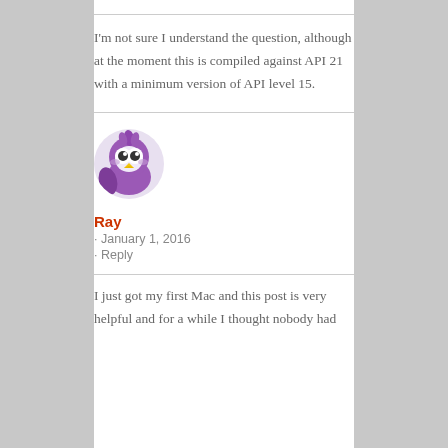I'm not sure I understand the question, although at the moment this is compiled against API 21 with a minimum version of API level 15.
[Figure (illustration): Purple cartoon bird avatar icon with big white eyes and yellow beak]
Ray
· January 1, 2016
· Reply
I just got my first Mac and this post is very helpful and for a while I thought nobody had